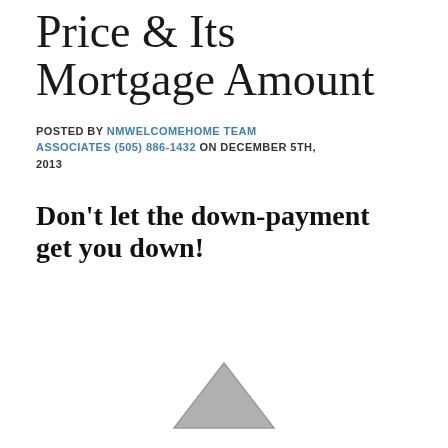Price & Its Mortgage Amount
POSTED BY NMWELCOMEHOME TEAM ASSOCIATES (505) 886-1432 ON DECEMBER 5TH, 2013
Don't let the down-payment get you down!
[Figure (illustration): Partial view of a grey house/triangle shape icon at the bottom of the page]